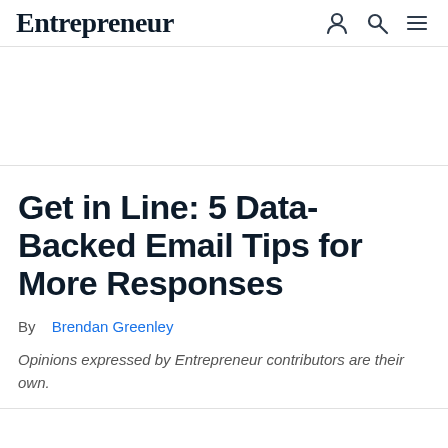Entrepreneur
Get in Line: 5 Data-Backed Email Tips for More Responses
By  Brendan Greenley
Opinions expressed by Entrepreneur contributors are their own.